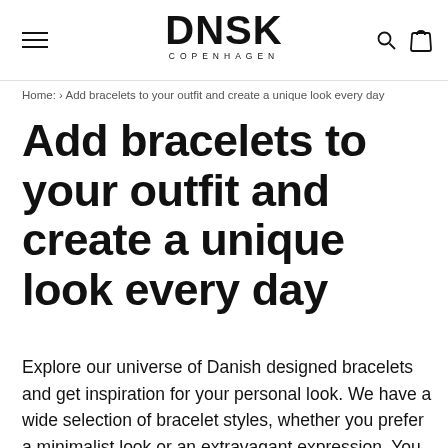DNSK COPENHAGEN
Home: › Add bracelets to your outfit and create a unique look every day
Add bracelets to your outfit and create a unique look every day
Explore our universe of Danish designed bracelets and get inspiration for your personal look. We have a wide selection of bracelet styles, whether you prefer a minimalist look or an extravagant expression. You can choose from a wide array of bracelet designs